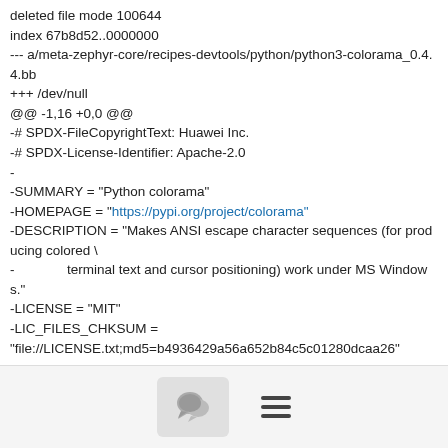deleted file mode 100644
index 67b8d52..0000000
--- a/meta-zephyr-core/recipes-devtools/python/python3-colorama_0.4.4.bb
+++ /dev/null
@@ -1,16 +0,0 @@
-# SPDX-FileCopyrightText: Huawei Inc.
-# SPDX-License-Identifier: Apache-2.0
-
-SUMMARY = "Python colorama"
-HOMEPAGE = "https://pypi.org/project/colorama"
-DESCRIPTION = "Makes ANSI escape character sequences (for producing colored \
-              terminal text and cursor positioning) work under MS Windows."
-LICENSE = "MIT"
-LIC_FILES_CHKSUM = "file://LICENSE.txt;md5=b4936429a56a652b84c5c01280dcaa26"
-
[Figure (other): Footer bar with a chat bubble button icon and a hamburger menu icon]